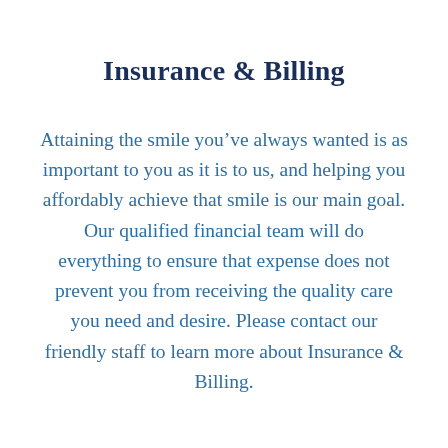Insurance & Billing
Attaining the smile you’ve always wanted is as important to you as it is to us, and helping you affordably achieve that smile is our main goal. Our qualified financial team will do everything to ensure that expense does not prevent you from receiving the quality care you need and desire. Please contact our friendly staff to learn more about Insurance & Billing.